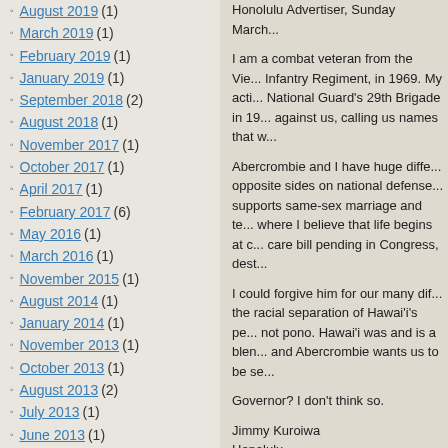August 2019 (1)
March 2019 (1)
February 2019 (1)
January 2019 (1)
September 2018 (2)
August 2018 (1)
November 2017 (1)
October 2017 (1)
April 2017 (1)
February 2017 (6)
May 2016 (1)
March 2016 (1)
November 2015 (1)
August 2014 (1)
January 2014 (1)
November 2013 (1)
October 2013 (1)
August 2013 (2)
July 2013 (1)
June 2013 (1)
September 2012 (1)
April 2012 (1)
December 2011 (1)
Honolulu Advertiser, Sunday March...
I am a combat veteran from the Vie... Infantry Regiment, in 1969. My acti... National Guard's 29th Brigade in 19... against us, calling us names that w...
Abercrombie and I have huge diffe... opposite sides on national defense... supports same-sex marriage and te... where I believe that life begins at c... care bill pending in Congress, dest...
I could forgive him for our many dif... the racial separation of Hawai'i's pe... not pono. Hawai'i was and is a blen... and Abercrombie wants us to be se...
Governor? I don't think so.
Jimmy Kuroiwa
Honolulu
This entry was posted on March 14, 2010... responses to this entry through RSS 2.0.